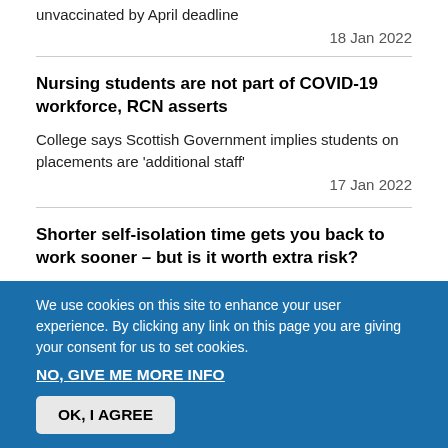unvaccinated by April deadline
18 Jan 2022
Nursing students are not part of COVID-19 workforce, RCN asserts
College says Scottish Government implies students on placements are 'additional staff'
17 Jan 2022
Shorter self-isolation time gets you back to work sooner – but is it worth extra risk?
We use cookies on this site to enhance your user experience. By clicking any link on this page you are giving your consent for us to set cookies.
NO, GIVE ME MORE INFO
OK, I AGREE